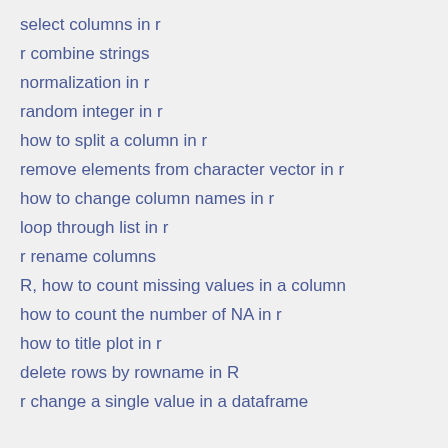select columns in r
r combine strings
normalization in r
random integer in r
how to split a column in r
remove elements from character vector in r
how to change column names in r
loop through list in r
r rename columns
R, how to count missing values in a column
how to count the number of NA in r
how to title plot in r
delete rows by rowname in R
r change a single value in a dataframe